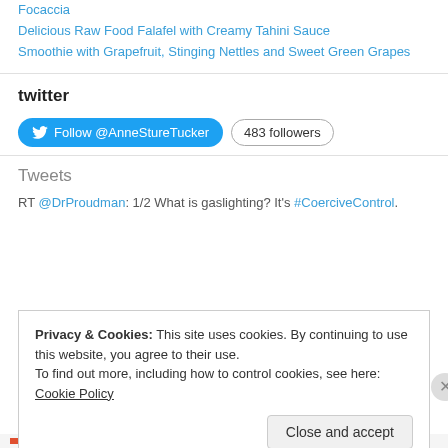Focaccia
Delicious Raw Food Falafel with Creamy Tahini Sauce
Smoothie with Grapefruit, Stinging Nettles and Sweet Green Grapes
twitter
Follow @AnneStureTucker  483 followers
Tweets
RT @DrProudman: 1/2 What is gaslighting? It's #CoerciveControl.
Privacy & Cookies: This site uses cookies. By continuing to use this website, you agree to their use.
To find out more, including how to control cookies, see here: Cookie Policy
Close and accept